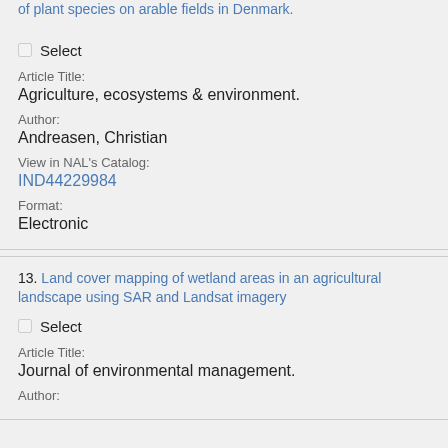of plant species on arable fields in Denmark.
Select
Article Title: Agriculture, ecosystems & environment.
Author: Andreasen, Christian
View in NAL's Catalog: IND44229984
Format: Electronic
13. Land cover mapping of wetland areas in an agricultural landscape using SAR and Landsat imagery
Select
Article Title: Journal of environmental management.
Author: